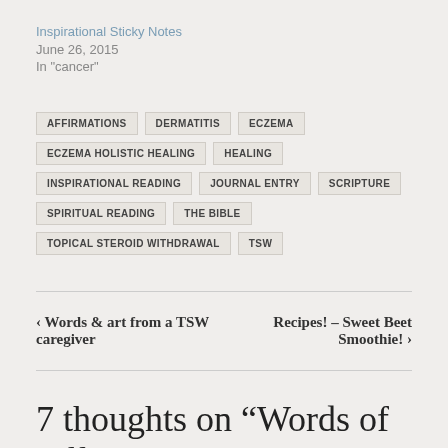Inspirational Sticky Notes
June 26, 2015
In "cancer"
AFFIRMATIONS
DERMATITIS
ECZEMA
ECZEMA HOLISTIC HEALING
HEALING
INSPIRATIONAL READING
JOURNAL ENTRY
SCRIPTURE
SPIRITUAL READING
THE BIBLE
TOPICAL STEROID WITHDRAWAL
TSW
‹ Words & art from a TSW caregiver
Recipes! – Sweet Beet Smoothie! ›
7 thoughts on “Words of Affirmation & Scriptures for Healing”